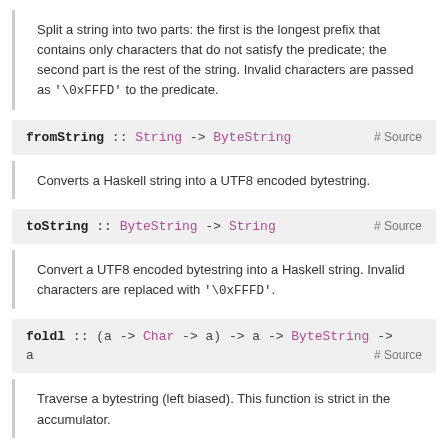Split a string into two parts: the first is the longest prefix that contains only characters that do not satisfy the predicate; the second part is the rest of the string. Invalid characters are passed as '\0xFFFD' to the predicate.
fromString :: String -> ByteString   # Source
Converts a Haskell string into a UTF8 encoded bytestring.
toString :: ByteString -> String   # Source
Convert a UTF8 encoded bytestring into a Haskell string. Invalid characters are replaced with '\0xFFFD'.
foldl :: (a -> Char -> a) -> a -> ByteString -> a   # Source
Traverse a bytestring (left biased). This function is strict in the accumulator.